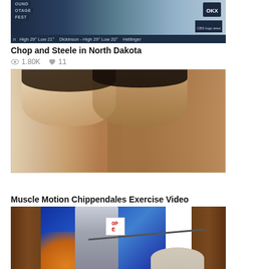[Figure (screenshot): Partial TV news broadcast thumbnail showing OKX logo and weather ticker with 'High 29° Low 21°  Dickinson - High 29° Low 20°  Hettinger']
Chop and Steele in North Dakota
1.80K  11
[Figure (photo): Two muscular shirtless men photographed together, appearing to be from a 1980s exercise/fitness video]
Muscle Motion Chippendales Exercise Video
3.60K  14
[Figure (screenshot): Partial thumbnail of a TV studio setting with a person holding a stick, blue background, wooden panels on sides, and a sign reading 'OPE']